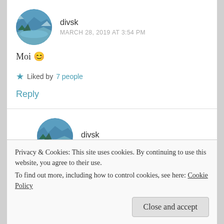[Figure (photo): Circular avatar photo of mountain lake landscape with snow-capped peaks and trees]
divsk
MARCH 28, 2019 AT 3:54 PM
Moi 😊
★ Liked by 7 people
Reply
[Figure (photo): Circular avatar photo of mountain lake landscape, partially visible]
divsk
Privacy & Cookies: This site uses cookies. By continuing to use this website, you agree to their use.
To find out more, including how to control cookies, see here: Cookie Policy
Close and accept